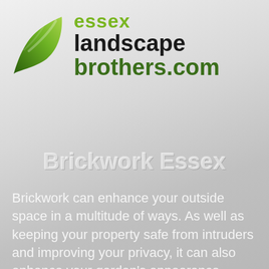[Figure (logo): Essex Landscape Brothers logo with green leaf icon and text: 'essex landscape brothers.com']
Brickwork Essex
Brickwork can enhance your outside space in a multitude of ways. As well as keeping your property safe from intruders and improving your privacy, it can also enhance your garden’s appearance. Brickwork created by